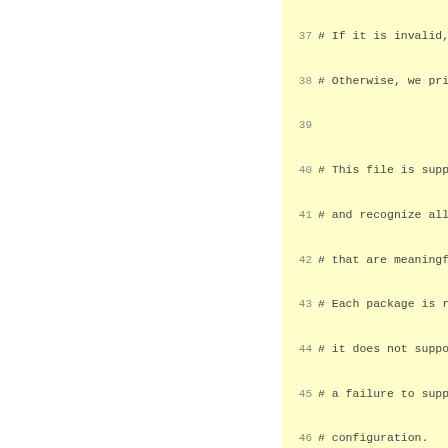Code listing lines 37-64 showing shell script comments and code. Lines 37-38: comments about invalid/otherwise handling. Lines 40-46: comments about file support and package configuration. Lines 48-53: comments about machine specification and CPU_TYPE-MANUFACT. Lines 55: me=`echo "$0" | sed. Lines 57-59: usage variable definition. Line 61: Canonicalize a conf. Line 63-64: Operation modes: -h, --help